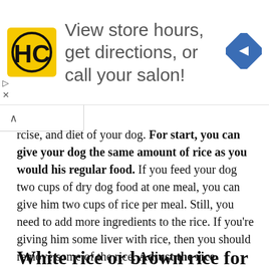[Figure (infographic): Advertisement banner: HC logo (yellow square with black HC text), ad text 'View store hours, get directions, or call your salon!', blue navigation diamond icon on right. Navigation arrows and X icons on left side.]
rcise, and diet of your dog. For start, you can give your dog the same amount of rice as you would his regular food. If you feed your dog two cups of dry dog food at one meal, you can give him two cups of rice per meal. Still, you need to add more ingredients to the rice. If you're giving him some liver with rice, then you should remove some of the rice. Adjust the rice quantity according to the other ingredients. Dogs really enjoy liver and you can find out more about the liver here.
White rice or brown rice for